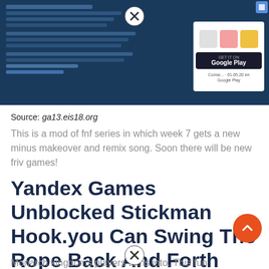[Figure (screenshot): Screenshot of a game website interface with dark blue background, close button (X circle), text blocks on the left, and a Google Play promotion box on the right]
Source: ga13.eis18.org
This is a mod of fnf series in which week 7 gets a new minus makeover and remix song. Soon there will be new friv games!
Yandex Games Unblocked Stickman Hook.you Can Swing The Rope Back And Forth And Keep Jumping Forward, And It's Like Spiderman, Isn't That Co
Monarch kingdoms players turns into. This fun